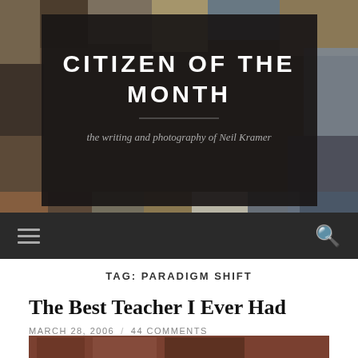[Figure (photo): Website header with photographic collage background showing textured surfaces and stone/tile imagery]
CITIZEN OF THE MONTH
the writing and photography of Neil Kramer
TAG: PARADIGM SHIFT
The Best Teacher I Ever Had
MARCH 28, 2006 / 44 COMMENTS
[Figure (photo): Partial view of a photograph at the bottom of the page, reddish-brown tones]